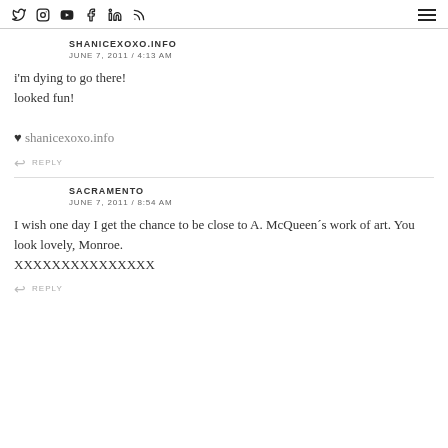Social media icons and hamburger menu
SHANICEXOXO.INFO
JUNE 7, 2011 / 4:13 AM
i'm dying to go there!
looked fun!
♥ shanicexoxo.info
REPLY
SACRAMENTO
JUNE 7, 2011 / 8:54 AM
I wish one day I get the chance to be close to A. McQueen´s work of art. You look lovely, Monroe.
XXXXXXXXXXXXXXX
REPLY